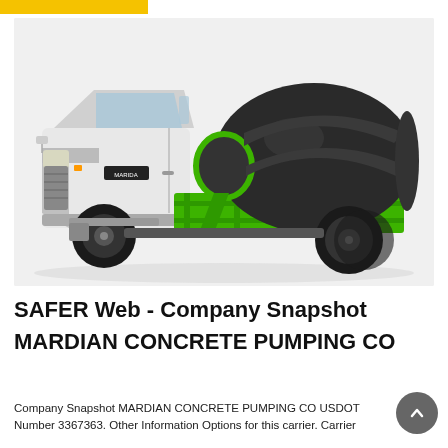[Figure (photo): A green and black concrete mixer truck with white cab, parked on a light gray background. The mixer drum is dark gray/black and the frame/chute is bright green.]
SAFER Web - Company Snapshot
MARDIAN CONCRETE PUMPING CO
Company Snapshot MARDIAN CONCRETE PUMPING CO USDOT Number 3367363. Other Information Options for this carrier. Carrier